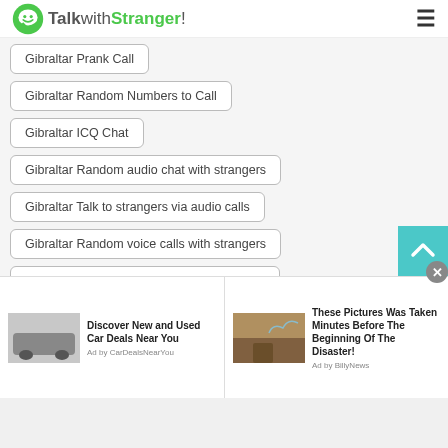TalkwithStranger!
Gibraltar Prank Call
Gibraltar Random Numbers to Call
Gibraltar ICQ Chat
Gibraltar Random audio chat with strangers
Gibraltar Talk to strangers via audio calls
Gibraltar Random voice calls with strangers
Gibraltar Random voice chat with strangers
Gibraltar Singles Near Me
[Figure (screenshot): Advertisement banner with two ads: 'Discover New and Used Car Deals Near You' by CarDealsNearYou, and 'These Pictures Was Taken Minutes Before The Beginning Of The Disaster!' by BillyNews]